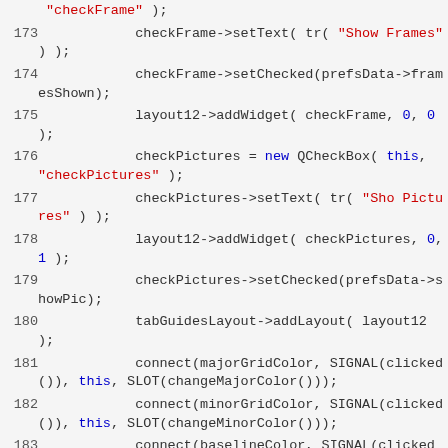Source code listing, lines 173-183, C++/Qt code
line partial: "checkFrame" );
173     checkFrame->setText( tr( "Show Frames" ) );
174     checkFrame->setChecked(prefsData->framesShown);
175     layout12->addWidget( checkFrame, 0, 0 );
176     checkPictures = new QCheckBox( this, "checkPictures" );
177     checkPictures->setText( tr( "Show Pictures" ) );
178     layout12->addWidget( checkPictures, 0, 1 );
179     checkPictures->setChecked(prefsData->showPic);
180     tabGuidesLayout->addLayout( layout12 );
181     connect(majorGridColor, SIGNAL(clicked()), this, SLOT(changeMajorColor()));
182     connect(minorGridColor, SIGNAL(clicked()), this, SLOT(changeMinorColor()));
183     connect(baselineColor, SIGNAL(clicked()), this,